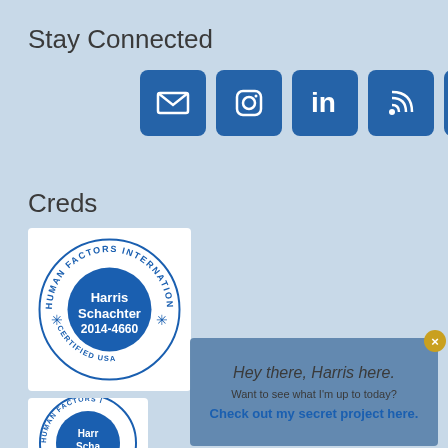Stay Connected
[Figure (illustration): Five blue square social media icons: email/envelope, Instagram, LinkedIn, RSS feed, Twitter]
Creds
[Figure (illustration): Human Factors International circular certification badge for Harris Schachter 2014-4660, Certified Usability Analyst]
[Figure (illustration): Partial second Human Factors International badge for Harris Schachter #2014-...]
Hey there, Harris here. Want to see what I'm up to today? Check out my secret project here.